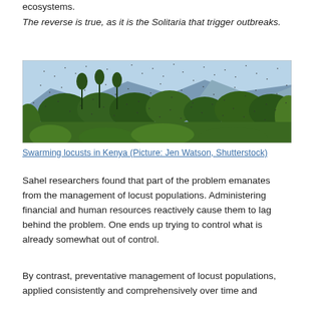ecosystems.
The reverse is true, as it is the Solitaria that trigger outbreaks.
[Figure (photo): Dense swarm of locusts filling the air above green vegetation and trees, with mountains visible in the background. Kenya landscape.]
Swarming locusts in Kenya (Picture: Jen Watson, Shutterstock)
Sahel researchers found that part of the problem emanates from the management of locust populations. Administering financial and human resources reactively cause them to lag behind the problem. One ends up trying to control what is already somewhat out of control.
By contrast, preventative management of locust populations, applied consistently and comprehensively over time and